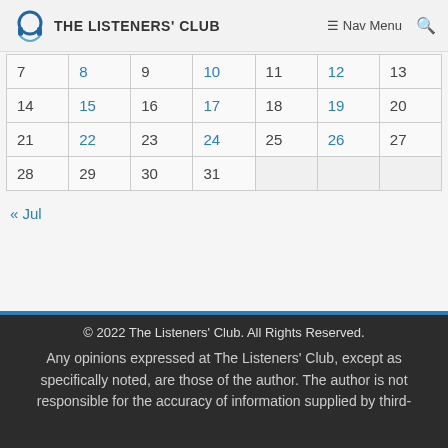THE LISTENERS' CLUB  Nav Menu
| 7 | 8 | 9 | 10 | 11 | 12 | 13 |
| 14 | 15 | 16 | 17 | 18 | 19 | 20 |
| 21 | 22 | 23 | 24 | 25 | 26 | 27 |
| 28 | 29 | 30 | 31 |  |  |  |
« Jul
© 2022 The Listeners' Club. All Rights Reserved. Any opinions expressed at The Listeners' Club, except as specifically noted, are those of the author. The author is not responsible for the accuracy of information supplied by third-